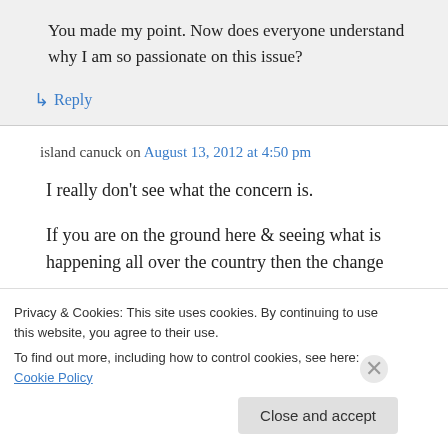You made my point. Now does everyone understand why I am so passionate on this issue?
↳ Reply
island canuck on August 13, 2012 at 4:50 pm
I really don't see what the concern is.
If you are on the ground here & seeing what is happening all over the country then the chance
Privacy & Cookies: This site uses cookies. By continuing to use this website, you agree to their use.
To find out more, including how to control cookies, see here: Cookie Policy
Close and accept